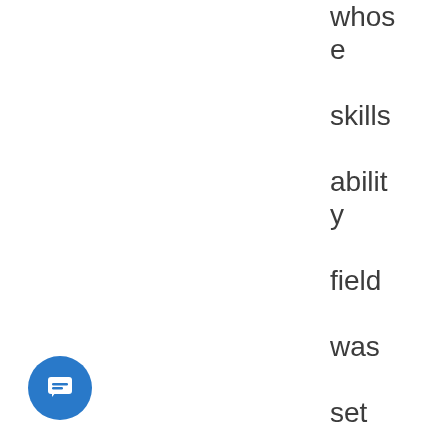whose skills ability field was set incorrectly. 0.5.21 Restored compatib
[Figure (other): Blue circular chat/message button icon in bottom-left corner]